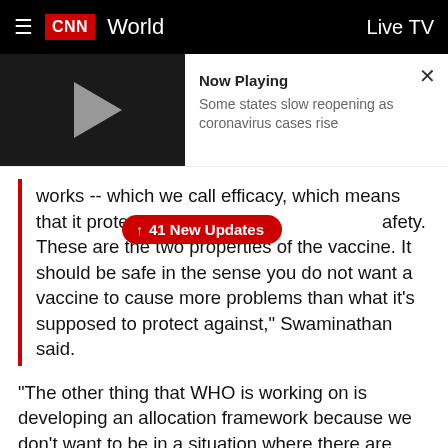≡  CNN  World  Live TV
[Figure (screenshot): Video thumbnail with play button (dark background) and 'Now Playing' panel showing 'Some states slow reopening as coronavirus cases rise' with close X button]
works -- which we call efficacy, which means that it protects against [41 New Updates] afety. These are the two properties of the vaccine. It should be safe in the sense you do not want a vaccine to cause more problems than what it's supposed to protect against," Swaminathan said.
"The other thing that WHO is working on is developing an allocation framework because we don't want to be in a situation where there are some doses of a vaccine but they're not available to everyone, they're just available to a few people in a few countries. So this is